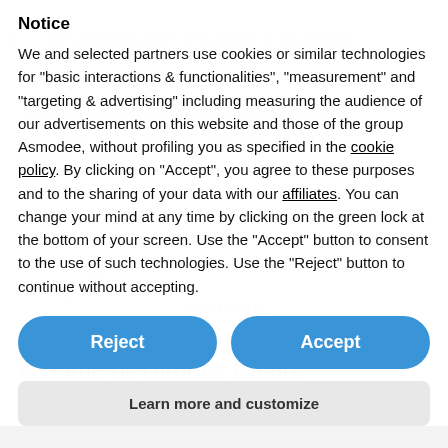Notice
We and selected partners use cookies or similar technologies for "basic interactions & functionalities", "measurement" and "targeting & advertising" including measuring the audience of our advertisements on this website and those of the group Asmodee, without profiling you as specified in the cookie policy. By clicking on "Accept", you agree to these purposes and to the sharing of your data with our affiliates. You can change your mind at any time by clicking on the green lock at the bottom of your screen. Use the "Accept" button to consent to the use of such technologies. Use the "Reject" button to continue without accepting.
Reject
Accept
Learn more and customize
A Game of Thrones Catan: Brotherhood of the Watch